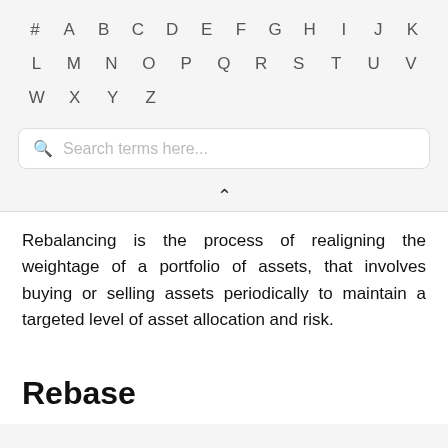# A B C D E F G H I J K L M N O P Q R S T U V W X Y Z
[Figure (other): Search box with placeholder text 'Search terms here...' and a magnifying glass icon]
Rebalancing is the process of realigning the weightage of a portfolio of assets, that involves buying or selling assets periodically to maintain a targeted level of asset allocation and risk.
Rebase